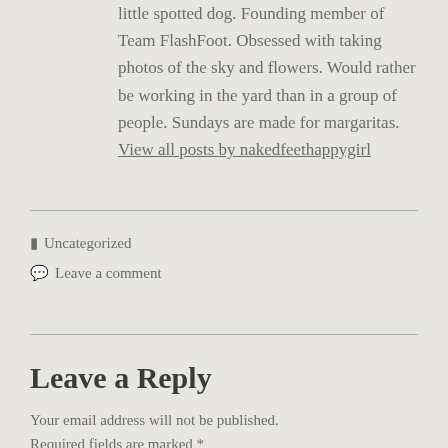little spotted dog. Founding member of Team FlashFoot. Obsessed with taking photos of the sky and flowers. Would rather be working in the yard than in a group of people. Sundays are made for margaritas. View all posts by nakedfeethappygirl
Uncategorized
Leave a comment
Leave a Reply
Your email address will not be published. Required fields are marked *